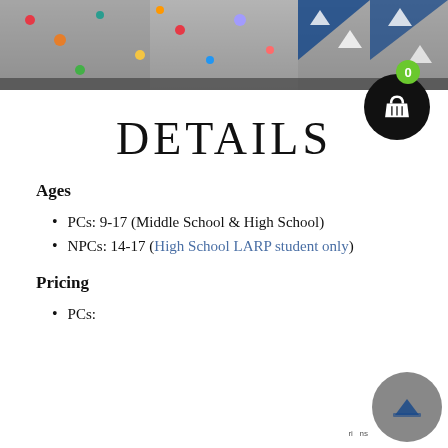[Figure (photo): Climbing wall with colorful holds, viewed from below]
DETAILS
Ages
PCs: 9-17 (Middle School & High School)
NPCs: 14-17 (High School LARP student only)
Pricing
PCs: